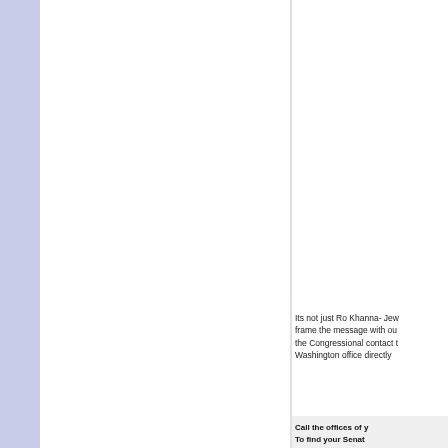Its not just Ro Khanna- Jew frame the message with ou the Congressional contact t Washington office directly
Call the offices of y
To find your Senat